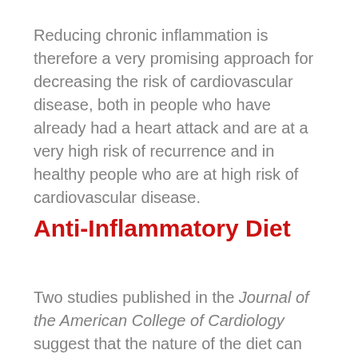Reducing chronic inflammation is therefore a very promising approach for decreasing the risk of cardiovascular disease, both in people who have already had a heart attack and are at a very high risk of recurrence and in healthy people who are at high risk of cardiovascular disease.
Anti-Inflammatory Diet
Two studies published in the Journal of the American College of Cardiology suggest that the nature of the diet can greatly influence the degree